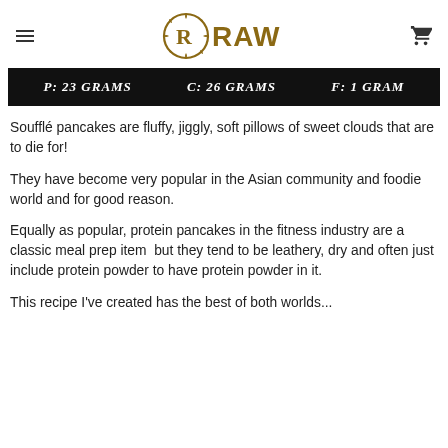RAW
P: 23 GRAMS   C: 26 GRAMS   F: 1 GRAM
Soufflé pancakes are fluffy, jiggly, soft pillows of sweet clouds that are to die for!
They have become very popular in the Asian community and foodie world and for good reason.
Equally as popular, protein pancakes in the fitness industry are a classic meal prep item  but they tend to be leathery, dry and often just include protein powder to have protein powder in it.
This recipe I've created has the best of both worlds...